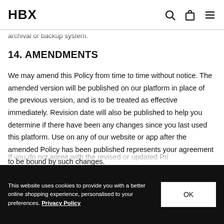HBX
archival or backup system.
14. AMENDMENTS
We may amend this Policy from time to time without notice. The amended version will be published on our platform in place of the previous version, and is to be treated as effective immediately. Revision date will also be published to help you determine if there have been any changes since you last used this platform. Use on any of our website or app after the amended Policy has been published represents your agreement to be bound by such changes.
If you do not agree with the revised or updated Pri...
This website uses cookies to provide you with a better online shopping experience, personalised to your preferences. Privacy Policy  OK